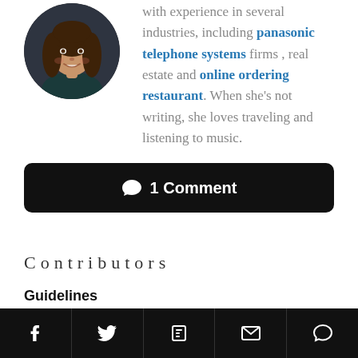[Figure (photo): Circular avatar photo of a young woman with long dark hair, smiling, against a dark background]
with experience in several industries, including panasonic telephone systems firms , real estate and online ordering restaurant. When she's not writing, she loves traveling and listening to music.
1 Comment
Contributors
Guidelines
Register
[Figure (infographic): Bottom navigation bar with icons: Facebook, Twitter, Flipboard, Email/envelope, Comment bubble]